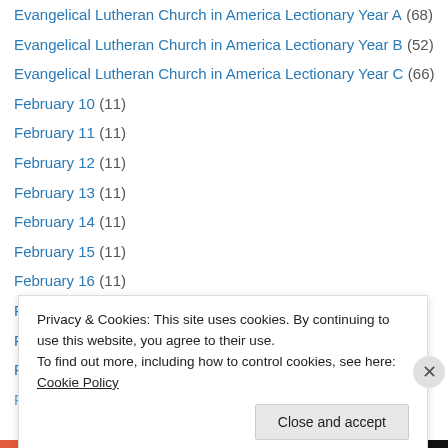Evangelical Lutheran Church in America Lectionary Year A (68)
Evangelical Lutheran Church in America Lectionary Year B (52)
Evangelical Lutheran Church in America Lectionary Year C (66)
February 10 (11)
February 11 (11)
February 12 (11)
February 13 (11)
February 14 (11)
February 15 (11)
February 16 (11)
February 17 (11)
February 18 (12)
February 19 (12)
February 20 (12)
Privacy & Cookies: This site uses cookies. By continuing to use this website, you agree to their use. To find out more, including how to control cookies, see here: Cookie Policy
Close and accept